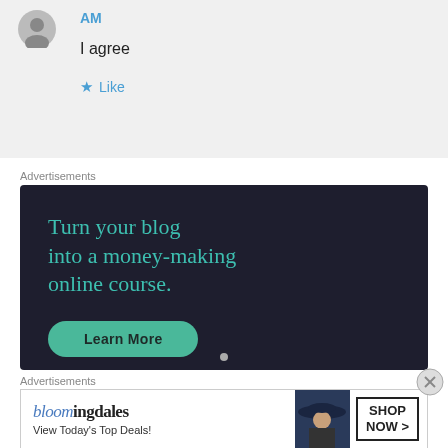AM
I agree
Like
Advertisements
[Figure (infographic): Dark navy advertisement for turning a blog into a money-making online course, with teal text and a Learn More button]
Advertisements
[Figure (infographic): Bloomingdales advertisement showing logo, View Today's Top Deals text, woman with hat, and SHOP NOW button]